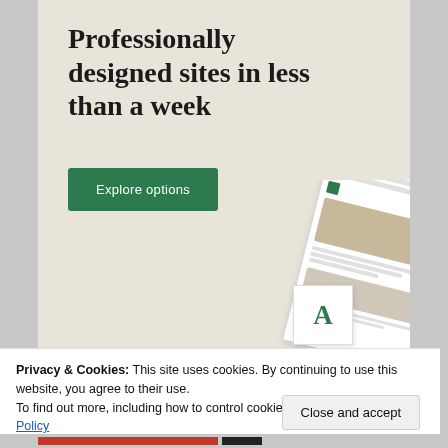Professionally designed sites in less than a week
[Figure (screenshot): Website builder advertisement showing tilted website mockup panels and a font card with letter A in green]
Privacy & Cookies: This site uses cookies. By continuing to use this website, you agree to their use.
To find out more, including how to control cookies, see here: Cookie Policy